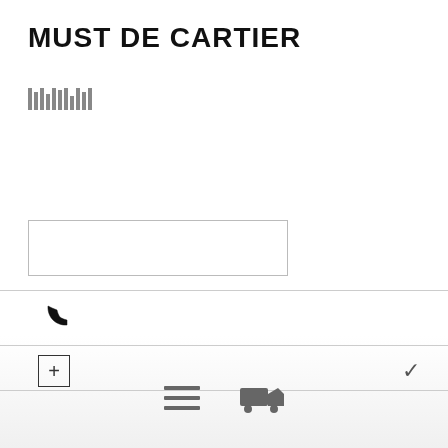MUST DE CARTIER
[Figure (other): Barcode or product scanning graphic (vertical bars)]
[Figure (other): Empty input/search text field box]
[Figure (other): Phone handset icon in a list row with horizontal dividers]
[Figure (other): Plus icon in a box with a chevron/checkmark icon on the right in a list row]
[Figure (other): Bottom bar with list/menu icon and delivery truck icon]